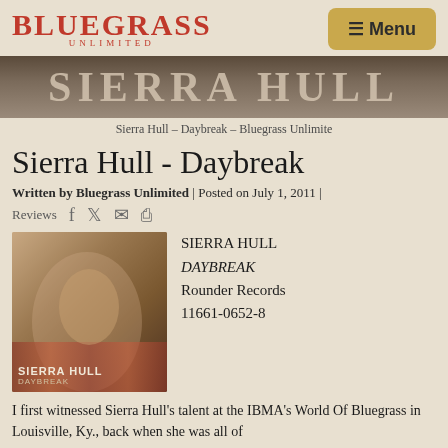BLUEGRASS UNLIMITED — Menu
[Figure (photo): Banner photo showing Sierra Hull text overlay in large serif letters against a warm brown background]
Sierra Hull – Daybreak – Bluegrass Unlimite
Sierra Hull - Daybreak
Written by Bluegrass Unlimited | Posted on July 1, 2011 | Reviews
[Figure (photo): Album cover for Sierra Hull Daybreak showing a young woman seated on a patterned floor]
SIERRA HULL
DAYBREAK
Rounder Records
11661-0652-8
I first witnessed Sierra Hull's talent at the IBMA's World Of Bluegrass in Louisville, Ky., back when she was all of